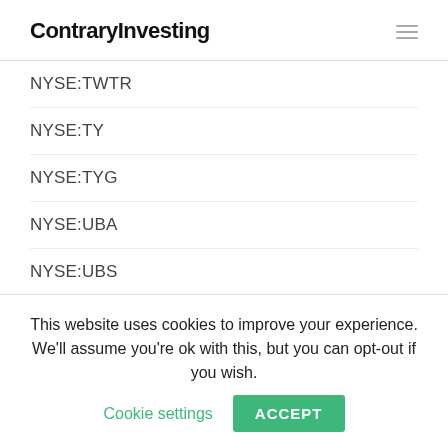ContraryInvesting
NYSE:TWTR
NYSE:TY
NYSE:TYG
NYSE:UBA
NYSE:UBS
NYSE:UDR
NYSE:UHT
NYSE:UMH
NYSE:UM
This website uses cookies to improve your experience. We'll assume you're ok with this, but you can opt-out if you wish. Cookie settings ACCEPT